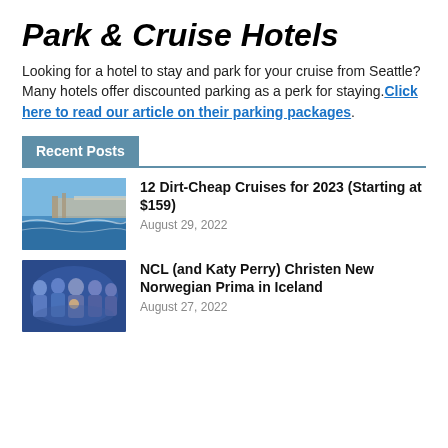Park & Cruise Hotels
Looking for a hotel to stay and park for your cruise from Seattle? Many hotels offer discounted parking as a perk for staying.Click here to read our article on their parking packages.
Recent Posts
[Figure (photo): Cruise ship deck with ocean view, blue sky]
12 Dirt-Cheap Cruises for 2023 (Starting at $159)
August 29, 2022
[Figure (photo): Group of people in formal attire, ceremony photo with blue tones]
NCL (and Katy Perry) Christen New Norwegian Prima in Iceland
August 27, 2022